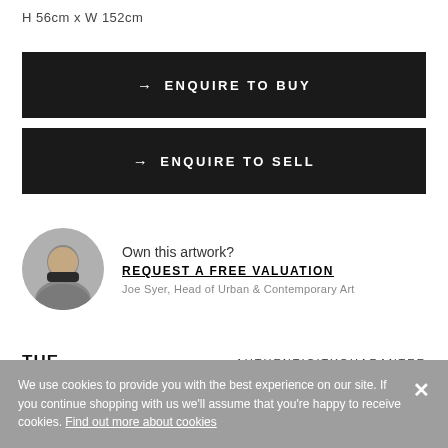H 56cm x W 152cm
→ ENQUIRE TO BUY
→ ENQUIRE TO SELL
[Figure (photo): Circular avatar photo of Joe Syer, a man in a dark top, smiling]
Own this artwork?
REQUEST A FREE VALUATION
Joe Syer, Head of Urban & Contemporary Art
THE
AUTHENTICITYGUARANTEE
We use cookies to provide you with the best experience on our site. If you continue shopping with us we'll assume that you're happy to receive cookies. Find out more about cookies